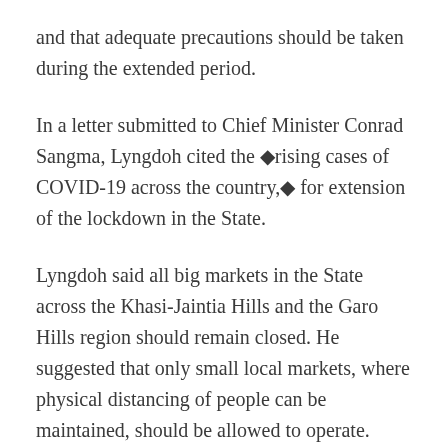and that adequate precautions should be taken during the extended period.
In a letter submitted to Chief Minister Conrad Sangma, Lyngdoh cited the ◆rising cases of COVID-19 across the country,◆ for extension of the lockdown in the State.
Lyngdoh said all big markets in the State across the Khasi-Jaintia Hills and the Garo Hills region should remain closed. He suggested that only small local markets, where physical distancing of people can be maintained, should be allowed to operate.